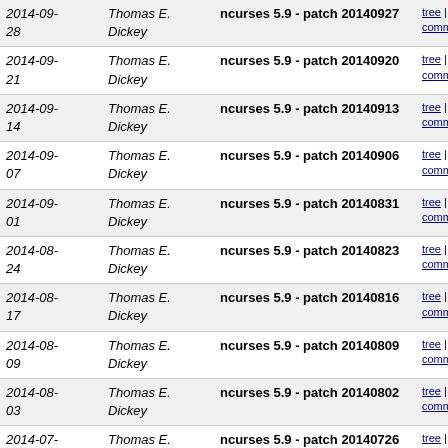| Date | Author | Commit | Links |
| --- | --- | --- | --- |
| 2014-09-28 | Thomas E. Dickey | ncurses 5.9 - patch 20140927 | tree | commitdiff |
| 2014-09-21 | Thomas E. Dickey | ncurses 5.9 - patch 20140920 | tree | commitdiff |
| 2014-09-14 | Thomas E. Dickey | ncurses 5.9 - patch 20140913 | tree | commitdiff |
| 2014-09-07 | Thomas E. Dickey | ncurses 5.9 - patch 20140906 | tree | commitdiff |
| 2014-09-01 | Thomas E. Dickey | ncurses 5.9 - patch 20140831 | tree | commitdiff |
| 2014-08-24 | Thomas E. Dickey | ncurses 5.9 - patch 20140823 | tree | commitdiff |
| 2014-08-17 | Thomas E. Dickey | ncurses 5.9 - patch 20140816 | tree | commitdiff |
| 2014-08-09 | Thomas E. Dickey | ncurses 5.9 - patch 20140809 | tree | commitdiff |
| 2014-08-03 | Thomas E. Dickey | ncurses 5.9 - patch 20140802 | tree | commitdiff |
| 2014-07-27 | Thomas E. Dickey | ncurses 5.9 - patch 20140726 | tree | commitdiff |
| 2014-07-20 | Thomas E. Dickey | ncurses 5.9 - patch 20140719 | tree | commitdiff |
| 2014-07-12 | Thomas E. Dickey | ncurses 5.9 - patch 20140712 | tree | commitdiff |
| 2014-07-06 | Thomas E. Dickey | ncurses 5.9 - patch 20140705 | tree | commitdiff |